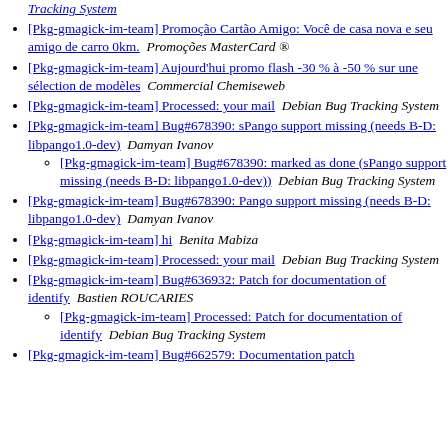[Pkg-gmagick-im-team] ... Tracking System (continuation)
[Pkg-gmagick-im-team] Promoção Cartão Amigo: Você de casa nova e seu amigo de carro 0km.  Promoções MasterCard ®
[Pkg-gmagick-im-team] Aujourd'hui promo flash -30 % à -50 % sur une sélection de modèles  Commercial Chemiseweb
[Pkg-gmagick-im-team] Processed: your mail  Debian Bug Tracking System
[Pkg-gmagick-im-team] Bug#678390: sPango support missing (needs B-D: libpango1.0-dev)  Damyan Ivanov
[Pkg-gmagick-im-team] Bug#678390: marked as done (sPango support missing (needs B-D: libpango1.0-dev))  Debian Bug Tracking System
[Pkg-gmagick-im-team] Bug#678390: Pango support missing (needs B-D: libpango1.0-dev)  Damyan Ivanov
[Pkg-gmagick-im-team] hi  Benita Mabiza
[Pkg-gmagick-im-team] Processed: your mail  Debian Bug Tracking System
[Pkg-gmagick-im-team] Bug#636932: Patch for documentation of identify  Bastien ROUCARIES
[Pkg-gmagick-im-team] Processed: Patch for documentation of identify  Debian Bug Tracking System
[Pkg-gmagick-im-team] Bug#662579: Documentation patch